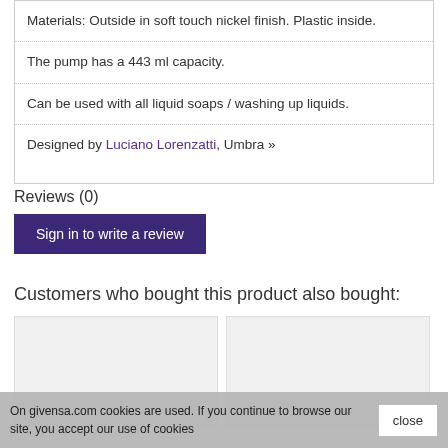Materials: Outside in soft touch nickel finish. Plastic inside.
The pump has a 443 ml capacity.
Can be used with all liquid soaps / washing up liquids.
Designed by Luciano Lorenzatti, Umbra »
Reviews (0)
Sign in to write a review
Customers who bought this product also bought:
[Figure (other): Two empty product image placeholder boxes]
On givensa.com cookies are used. If you continue to browse our site, you accept our use of cookies